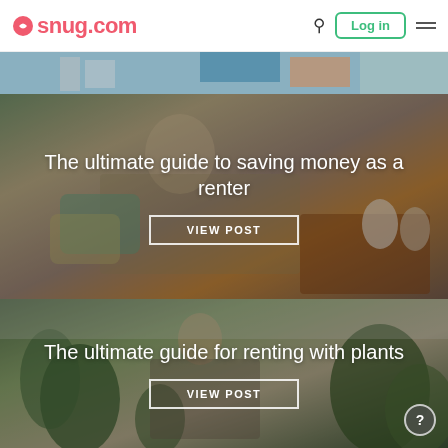snug.com — Log in
[Figure (photo): Partial view of a person working at a desk with a laptop, blue and orange items visible]
[Figure (photo): Person in striped shirt sitting on couch using a phone/laptop, coffee table visible with candles]
The ultimate guide to saving money as a renter
VIEW POST
[Figure (photo): Person with plants in a room with white brick walls and many green houseplants]
The ultimate guide for renting with plants
VIEW POST